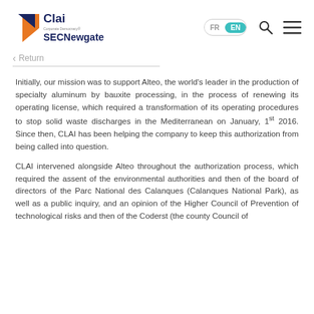CLAI SECNewgate — FR / EN navigation header with search and menu icons
Return
Initially, our mission was to support Alteo, the world's leader in the production of specialty aluminum by bauxite processing, in the process of renewing its operating license, which required a transformation of its operating procedures to stop solid waste discharges in the Mediterranean on January, 1st 2016. Since then, CLAI has been helping the company to keep this authorization from being called into question.
CLAI intervened alongside Alteo throughout the authorization process, which required the assent of the environmental authorities and then of the board of directors of the Parc National des Calanques (Calanques National Park), as well as a public inquiry, and an opinion of the Higher Council of Prevention of technological risks and then of the Coderst (the county Council of